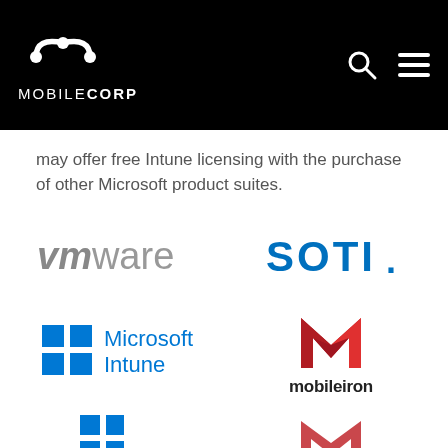MOBILECORP
may offer free Intune licensing with the purchase of other Microsoft product suites.
[Figure (logo): VMware logo in grey text]
[Figure (logo): SOTI logo in blue bold text]
[Figure (logo): Microsoft Intune logo with Windows flag icon]
[Figure (logo): MobileIron logo with red M icon]
[Figure (logo): Partial logo at bottom left (cut off)]
[Figure (logo): Partial logo at bottom right (cut off)]